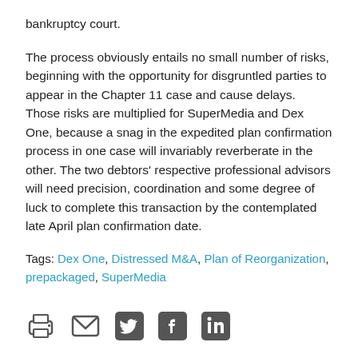bankruptcy court.
The process obviously entails no small number of risks, beginning with the opportunity for disgruntled parties to appear in the Chapter 11 case and cause delays. Those risks are multiplied for SuperMedia and Dex One, because a snag in the expedited plan confirmation process in one case will invariably reverberate in the other. The two debtors' respective professional advisors will need precision, coordination and some degree of luck to complete this transaction by the contemplated late April plan confirmation date.
Tags: Dex One, Distressed M&A, Plan of Reorganization, prepackaged, SuperMedia
[Figure (other): Social sharing icons: print, email, Twitter, Facebook, LinkedIn]